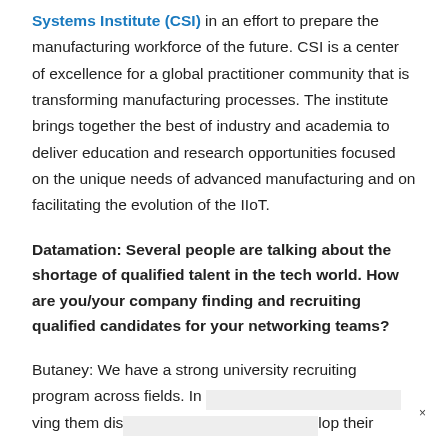Systems Institute (CSI) in an effort to prepare the manufacturing workforce of the future. CSI is a center of excellence for a global practitioner community that is transforming manufacturing processes. The institute brings together the best of industry and academia to deliver education and research opportunities focused on the unique needs of advanced manufacturing and on facilitating the evolution of the IIoT.
Datamation: Several people are talking about the shortage of qualified talent in the tech world. How are you/your company finding and recruiting qualified candidates for your networking teams?
Butaney: We have a strong university recruiting program across fields. In [obscured] ving them dis[obscured]lop their